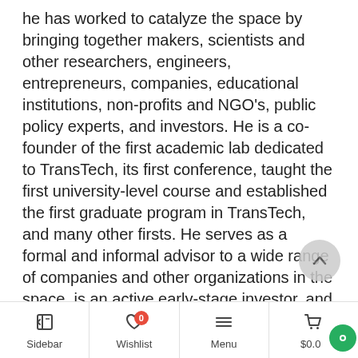he has worked to catalyze the space by bringing together makers, scientists and other researchers, engineers, entrepreneurs, companies, educational institutions, non-profits and NGO's, public policy experts, and investors. He is a co-founder of the first academic lab dedicated to TransTech, its first conference, taught the first university-level course and established the first graduate program in TransTech, and many other firsts. He serves as a formal and informal advisor to a wide range of companies and other organizations in the space, is an active early-stage investor, and is a frequent public speaker on TransTech related topics.
Business – Jeffery is a successful serial and parallel entrepreneur with a 25+ year background at various intersections of wellbeing, media, advertising, and technology. Fun facts about him include that he has
Sidebar | Wishlist 0 | Menu | $0.00